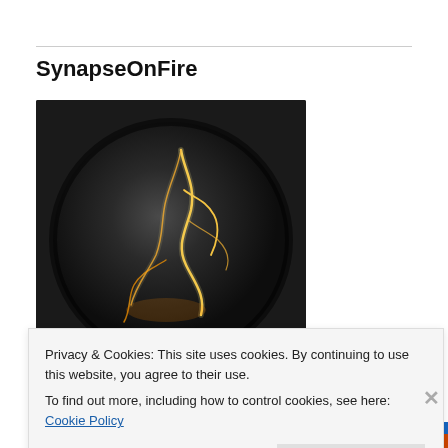SynapseOnFire
[Figure (photo): Dark sphere/rock-like object with glowing golden cracks or lightning streaks across its surface, on a dark background]
Recent Posts
Privacy & Cookies: This site uses cookies. By continuing to use this website, you agree to their use.
To find out more, including how to control cookies, see here: Cookie Policy
Close and accept